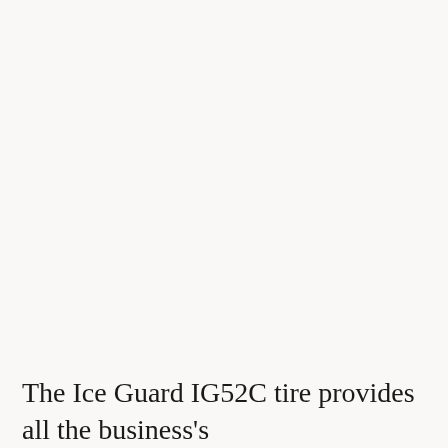The Ice Guard IG52C tire provides all the business's